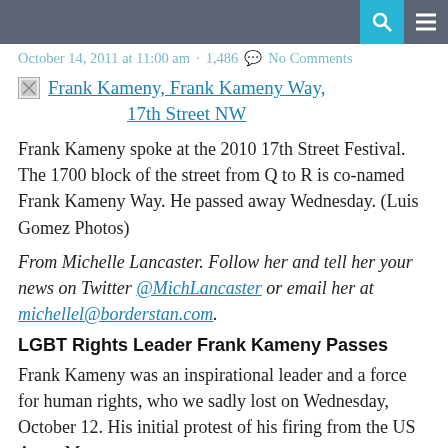October 14, 2011 at 11:00 am · 1,486 · No Comments
[Figure (other): Broken image placeholder icon followed by link text: Frank Kameny, Frank Kameny Way, 17th Street NW]
Frank Kameny spoke at the 2010 17th Street Festival. The 1700 block of the street from Q to R is co-named Frank Kameny Way. He passed away Wednesday. (Luis Gomez Photos)
From Michelle Lancaster. Follow her and tell her your news on Twitter @MichLancaster or email her at michellel@borderstan.com.
LGBT Rights Leader Frank Kameny Passes
Frank Kameny was an inspirational leader and a force for human rights, who we sadly lost on Wednesday, October 12. His initial protest of his firing from the US Army Map